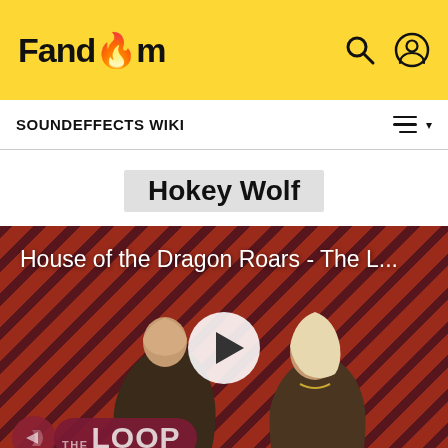Fandom
SOUNDEFFECTS WIKI
Hokey Wolf
[Figure (screenshot): Video thumbnail for 'House of the Dragon Roars - The L...' with The Loop branding, showing two characters against a diagonal red striped background with a play button in the center.]